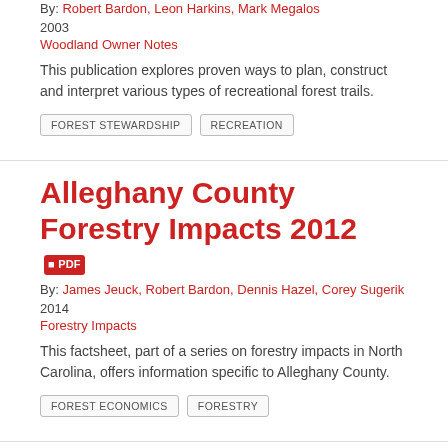By: Robert Bardon, Leon Harkins, Mark Megalos
2003
Woodland Owner Notes
This publication explores proven ways to plan, construct and interpret various types of recreational forest trails.
FOREST STEWARDSHIP
RECREATION
Alleghany County Forestry Impacts 2012
By: James Jeuck, Robert Bardon, Dennis Hazel, Corey Sugerik
2014
Forestry Impacts
This factsheet, part of a series on forestry impacts in North Carolina, offers information specific to Alleghany County.
FOREST ECONOMICS
FORESTRY